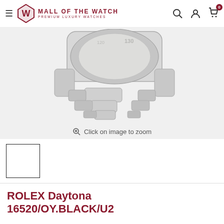Mall of the Watch — Premium Luxury Watches
[Figure (photo): Close-up photo of a Rolex Daytona stainless steel watch bracelet and case side, showing the lugs and clasp area. The watch bezel shows partial tachymeter markings with '130' visible.]
Click on image to zoom
[Figure (photo): Small thumbnail placeholder image of the Rolex Daytona watch (blank white square with dark border)]
ROLEX Daytona 16520/OY.BLACK/U2